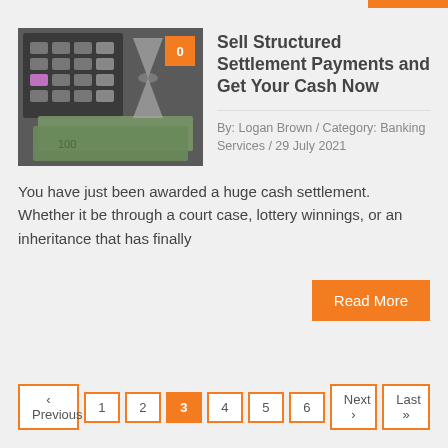[Figure (photo): Photo of a calculator with US dollar bills and an hourglass on a desk, alongside an orange badge showing the number 0]
Sell Structured Settlement Payments and Get Your Cash Now
By: Logan Brown / Category: Banking Services / 29 July 2021
You have just been awarded a huge cash settlement. Whether it be through a court case, lottery winnings, or an inheritance that has finally
Read More
‹ Previous  1  2  3  4  5  6  Next ›  Last »